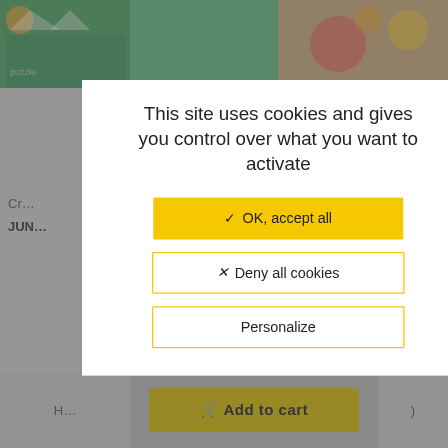[Figure (screenshot): Background showing an e-commerce website with product images (cat puzzle, flower design) and partial UI elements including product labels, price, and an Add to Cart button, overlaid by a cookie consent modal dialog.]
This site uses cookies and gives you control over what you want to activate
✓ OK, accept all
✗ Deny all cookies
Personalize